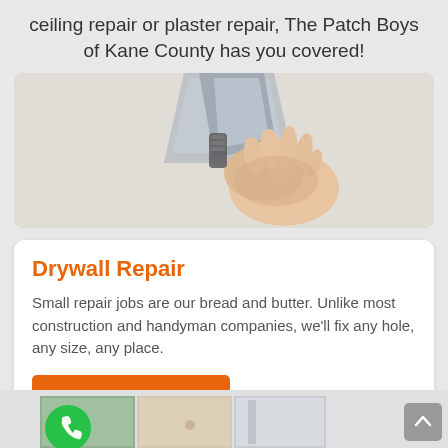ceiling repair or plaster repair, The Patch Boys of Kane County has you covered!
[Figure (photo): A hand holding a putty knife applying drywall compound or plaster to a wall surface]
Drywall Repair
Small repair jobs are our bread and butter. Unlike most construction and handyman companies, we'll fix any hole, any size, any place.
View Drywall Repair
[Figure (photo): Bottom strip showing partial images of drywall repair work with a green phone button and scroll-to-top button]